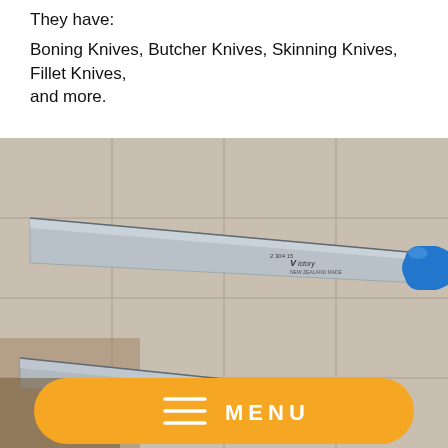They have:
Boning Knives, Butcher Knives, Skinning Knives, Fillet Knives, and more.
[Figure (photo): Close-up photo of two Victory brand knives with blue handles resting on a light gray surface. The blade of the top knife has the 'Victory' brand name etched on it. An orange menu button overlay is visible at the bottom.]